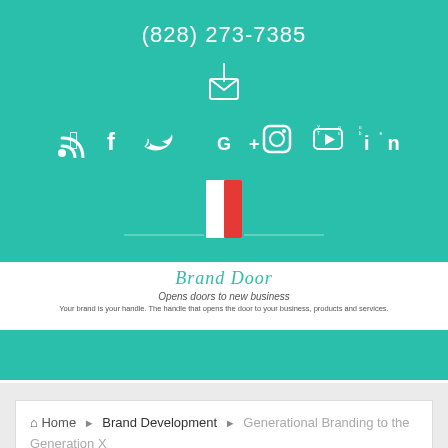(828) 273-7385
[Figure (infographic): Email icon (envelope) in white on teal background]
[Figure (infographic): Social media icons row: RSS, Facebook, Twitter, Google+, Instagram, YouTube, LinkedIn — white on teal]
[Figure (logo): Brand Door logo: door graphic with red panel on teal background with horizontal white rule]
Brand Door
Opens doors to new business
Your brand is your handle. The handle that opens the door to your business, products and services.
[Figure (infographic): Hamburger menu button (three horizontal lines) on light grey navigation bar]
Home ▶ Brand Development ▶ Generational Branding to the Generation X